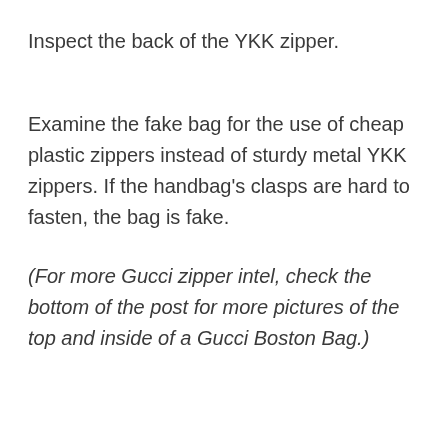Inspect the back of the YKK zipper.
Examine the fake bag for the use of cheap plastic zippers instead of sturdy metal YKK zippers. If the handbag’s clasps are hard to fasten, the bag is fake.
(For more Gucci zipper intel, check the bottom of the post for more pictures of the top and inside of a Gucci Boston Bag.)